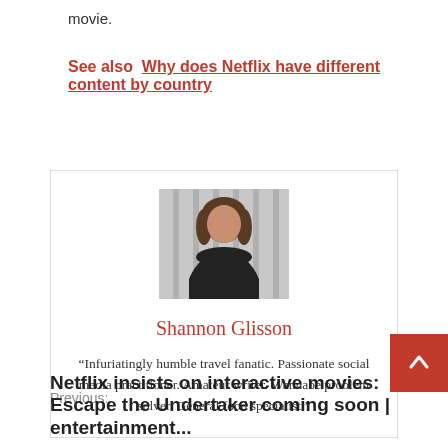movie.
See also  Why does Netflix have different content by country
[Figure (photo): Headshot photo of Shannon Glisson, a woman with brown hair wearing a dark top, standing against a striped background.]
Shannon Glisson
“Infuriatingly humble travel fanatic. Passionate social media practitioner. Amateur writer. Wannabe problem solver. General food specialist.”
Previous:
Netflix insists on interactive movies: Escape the Undertaker coming soon | entertainment...